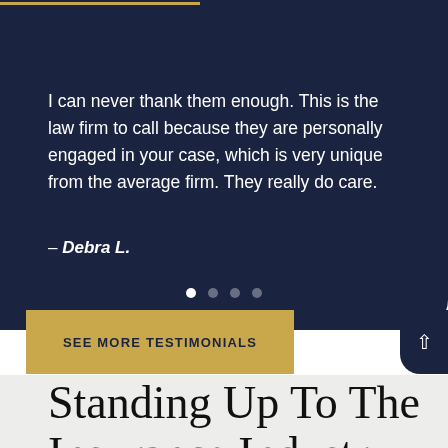I can never thank them enough. This is the law firm to call because they are personally engaged in your case, which is very unique from the average firm. They really do care.
– Debra L.
SEE MORE TESTIMONIALS
Standing Up To The Insurance Industry